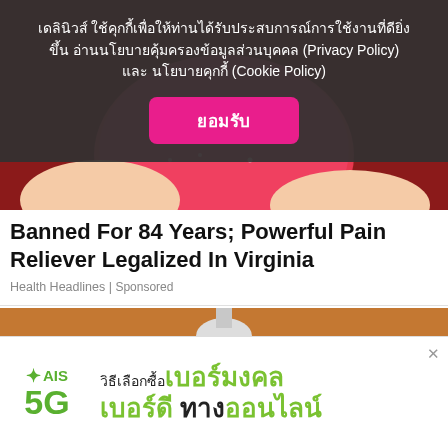[Figure (screenshot): Red sugary candy/gummy held in a hand, partially visible behind cookie consent overlay]
เดลินิวส์ ใช้คุกกี้เพื่อให้ท่านได้รับประสบการณ์การใช้งานที่ดียิ่งขึ้น อ่านนโยบายคุ้มครองข้อมูลส่วนบุคคล (Privacy Policy) และ นโยบายคุกกี้ (Cookie Policy)
ยอมรับ
Banned For 84 Years; Powerful Pain Reliever Legalized In Virginia
Health Headlines | Sponsored
[Figure (photo): Hand holding a white LED light bulb against a brown/orange background]
[Figure (infographic): AIS 5G advertisement banner with Thai text: วิธีเลือกซื้อเบอร์มงคล เบอร์ดี ทางออนไลน์]